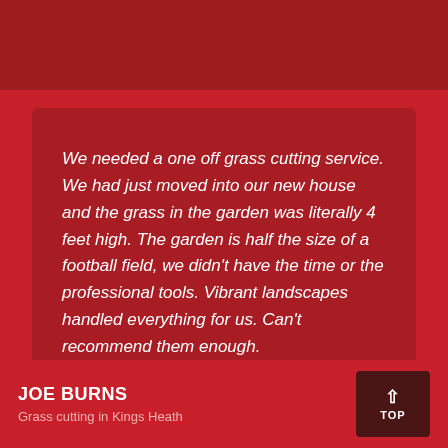[Figure (photo): Dark red/maroon banner image at the top of the page]
We needed a one off grass cutting service. We had just moved into our new house and the grass in the garden was literally 4 feet high. The garden is half the size of a football field, we didn't have the time or the professional tools. Vibrant landscapes handled everything for us. Can't recommend them enough.
JOE BURNS
Grass cutting in Kings Heath